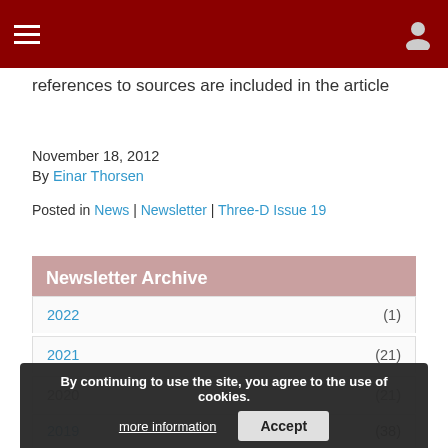Navigation bar with hamburger menu and user icon
references to sources are included in the article
November 18, 2012
By Einar Thorsen
Posted in News | Newsletter | Three-D Issue 19
Newsletter Archive
2022 (1)
2021 (21)
2020 (21)
2019 (38)
By continuing to use the site, you agree to the use of cookies. more information  Accept